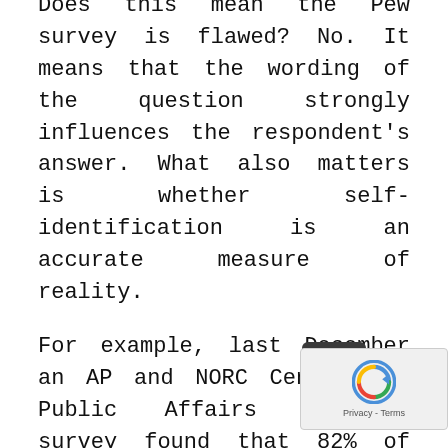Does this mean the Pew survey is flawed? No. It means that the wording of the question strongly influences the respondent's answer. What also matters is whether self-identification is an accurate measure of reality.
For example, last December an AP and NORC Center for Public Affairs Research survey found that 82% of Americans said religious liberty protections were important to Christians. Similarly, 8 in 10 Americans said that it was very or extremely important for people like themselves to be allowed